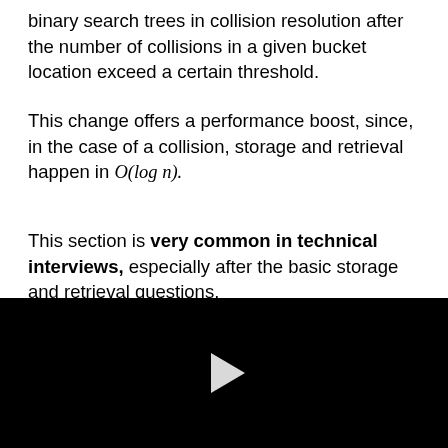binary search trees in collision resolution after the number of collisions in a given bucket location exceed a certain threshold.
This change offers a performance boost, since, in the case of a collision, storage and retrieval happen in O(log n).
This section is very common in technical interviews, especially after the basic storage and retrieval questions.
[Figure (other): Black video player area with a white play button triangle centered in the frame.]